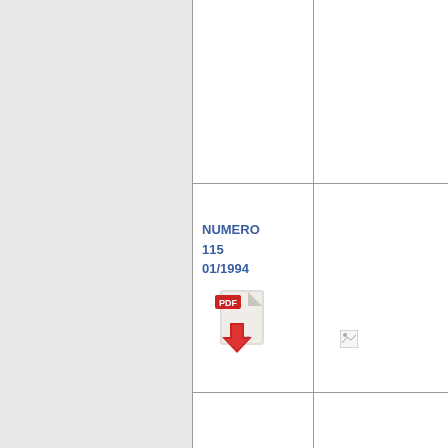|  |  |
| NUMERO
115
01/1994
[PDF icon] | [broken image] |
|  |  |